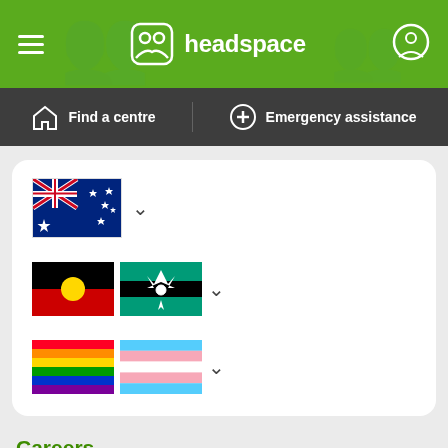headspace
Find a centre  Emergency assistance
[Figure (illustration): White card with three rows of flag selectors: 1) Australian flag with dropdown chevron, 2) Aboriginal and Torres Strait Islander flags with dropdown chevron, 3) Rainbow Pride and Transgender Pride flags with dropdown chevron]
Careers
Contact and feedback